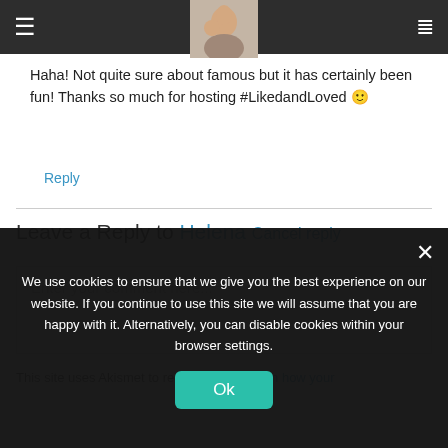Navigation bar with hamburger menu and list icon
[Figure (photo): Small portrait photo of a person (mother and child) overlapping the top navigation bar]
Haha! Not quite sure about famous but it has certainly been fun! Thanks so much for hosting #LikedandLoved 🙂
Reply
Leave a Reply to Helena Cancel reply
Enter your comment here...
This site uses Akismet to reduce spam. Learn how your
We use cookies to ensure that we give you the best experience on our website. If you continue to use this site we will assume that you are happy with it. Alternatively, you can disable cookies within your browser settings.
Ok